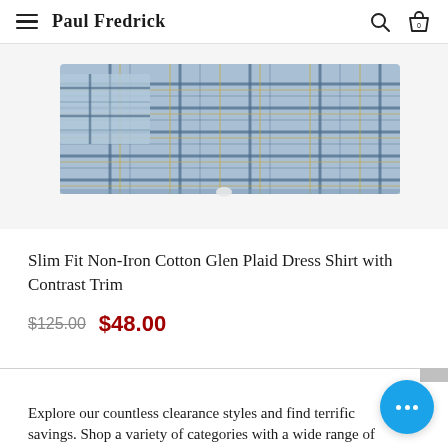Paul Fredrick
[Figure (photo): Folded blue glen plaid dress shirt with contrast trim, displayed on white background]
Slim Fit Non-Iron Cotton Glen Plaid Dress Shirt with Contrast Trim
$125.00  $48.00
Explore our countless clearance styles and find terrific savings. Shop a variety of categories with a wide range of